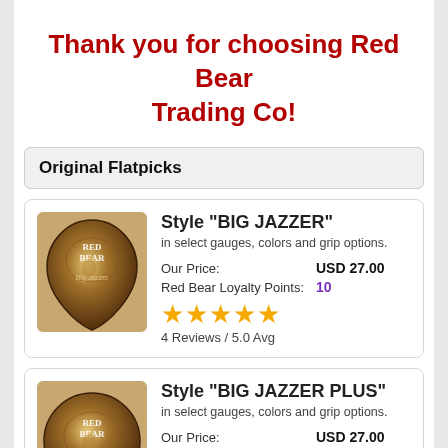Thank you for choosing Red Bear Trading Co!
Original Flatpicks
Style "BIG JAZZER"
in select gauges, colors and grip options.
Our Price: USD 27.00
Red Bear Loyalty Points: 10
4 Reviews / 5.0 Avg
Style "BIG JAZZER PLUS"
in select gauges, colors and grip options.
Our Price: USD 27.00